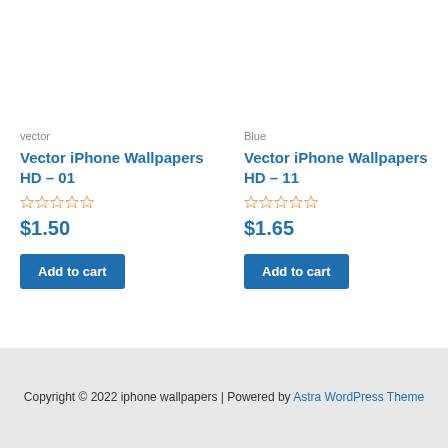vector
Vector iPhone Wallpapers HD – 01
★★★★★ (0 ratings)
$1.50
Add to cart
Blue
Vector iPhone Wallpapers HD – 11
★★★★★ (0 ratings)
$1.65
Add to cart
Copyright © 2022 iphone wallpapers | Powered by Astra WordPress Theme